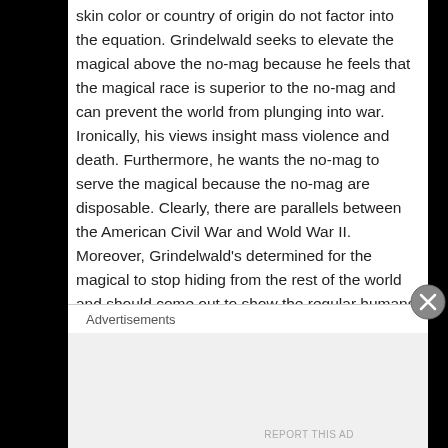skin color or country of origin do not factor into the equation. Grindelwald seeks to elevate the magical above the no-mag because he feels that the magical race is superior to the no-mag and can prevent the world from plunging into war. Ironically, his views insight mass violence and death. Furthermore, he wants the no-mag to serve the magical because the no-mag are disposable. Clearly, there are parallels between the American Civil War and Wold War II. Moreover, Grindelwald's determined for the magical to stop hiding from the rest of the world and should come out to show the regular humans that they are the superior race–the super race, if you will.
Speaking of “not hiding,” the film also touches on sexuality in the wizarding world. For the first time, a character's sexuality is pivotal to the plot and thus affords J.K. and WarnerMedia to comment on that in the story. Not a spoiler since J.K. stated it in a tweet, Dumbledore was in
Advertisements